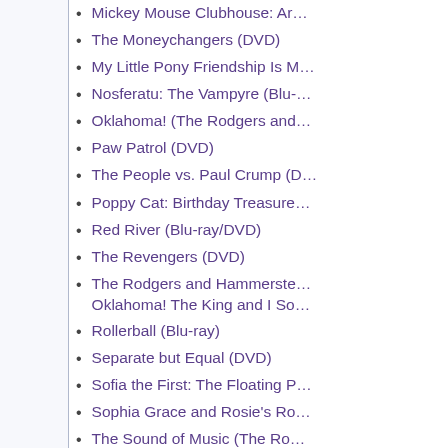Mickey Mouse Clubhouse: Ar…
The Moneychangers (DVD)
My Little Pony Friendship Is M…
Nosferatu: The Vampyre (Blu-…
Oklahoma! (The Rodgers and…
Paw Patrol (DVD)
The People vs. Paul Crump (D…
Poppy Cat: Birthday Treasure…
Red River (Blu-ray/DVD)
The Revengers (DVD)
The Rodgers and Hammerste… Oklahoma! The King and I So…
Rollerball (Blu-ray)
Separate but Equal (DVD)
Sofia the First: The Floating P…
Sophia Grace and Rosie's Ro…
The Sound of Music (The Ro…
South Pacific (The Rodgers a…
State Fair (The Rodgers and H…
Strawberry Shortcake: Fun U…
Successive Slidings of Pleasu…
Successive Slidings of Pleasu…
Thomas and Friends: Trouble…